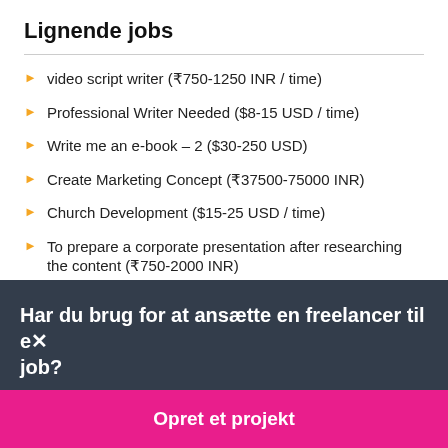Lignende jobs
video script writer (₹750-1250 INR / time)
Professional Writer Needed ($8-15 USD / time)
Write me an e-book – 2 ($30-250 USD)
Create Marketing Concept (₹37500-75000 INR)
Church Development ($15-25 USD / time)
To prepare a corporate presentation after researching the content (₹750-2000 INR)
Har du brug for at ansætte en freelancer til et job?
Opret et projekt